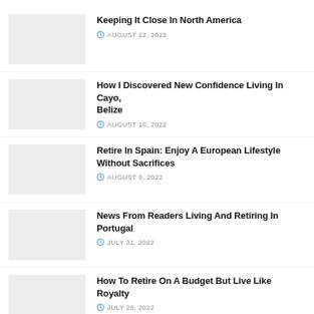Keeping It Close In North America | AUGUST 12, 2022
How I Discovered New Confidence Living In Cayo, Belize | AUGUST 10, 2022
Retire In Spain: Enjoy A European Lifestyle Without Sacrifices | AUGUST 9, 2022
News From Readers Living And Retiring In Portugal | JULY 31, 2022
How To Retire On A Budget But Live Like Royalty | JULY 29, 2022
Retiring Abroad Alone? Here Are 8 Things To Know